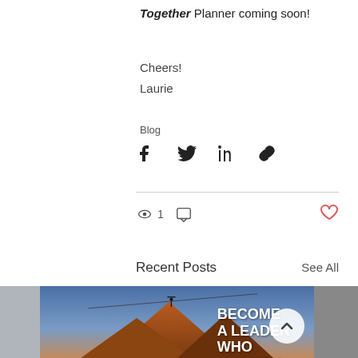Together Planner coming soon!
Cheers!
Laurie
Blog
[Figure (infographic): Social share icons: Facebook, Twitter, LinkedIn, Link/chain]
[Figure (infographic): Post stats row: eye icon with count 1, comment bubble icon, heart/like icon (red outline) on right]
Recent Posts
See All
[Figure (photo): Blog post thumbnail: person standing on a highline/wire above a rocky mountain peak at sunset, with text overlay BECOME A LEADER WHO INSPIRES. A scroll-up arrow button overlays the bottom right.]